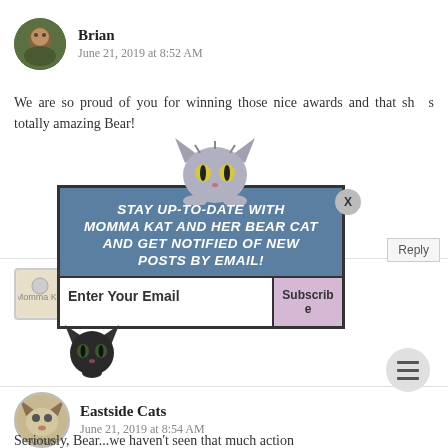Brian
June 21, 2019 at 8:52 AM
We are so proud of you for winning those nice awards and that sh__ s totally amazing Bear!
[Figure (screenshot): Email subscription popup overlay with cat illustrations. Blue box with text: STAY UP-TO-DATE WITH MOMMA KAT AND HER BEAR CAT AND GET NOTIFIED OF NEW POSTS BY EMAIL! Below: Enter Your Email input and Subscribe button. A gray tabby cat illustration peeks from top, a dark cat illustration at bottom-left. Close button (X) at top-right.]
Eastside Cats
June 21, 2019 at 8:54 AM
Seriously, Bear...we haven't seen that much action